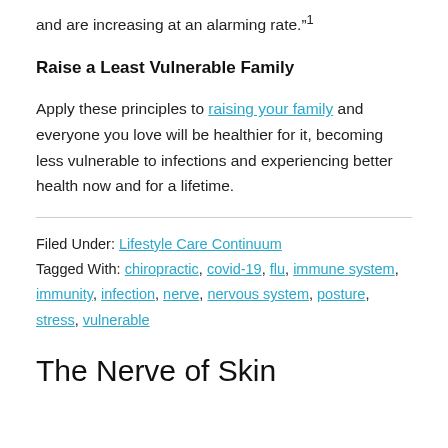and are increasing at an alarming rate.”1
Raise a Least Vulnerable Family
Apply these principles to raising your family and everyone you love will be healthier for it, becoming less vulnerable to infections and experiencing better health now and for a lifetime.
Filed Under: Lifestyle Care Continuum
Tagged With: chiropractic, covid-19, flu, immune system, immunity, infection, nerve, nervous system, posture, stress, vulnerable
The Nerve of Skin